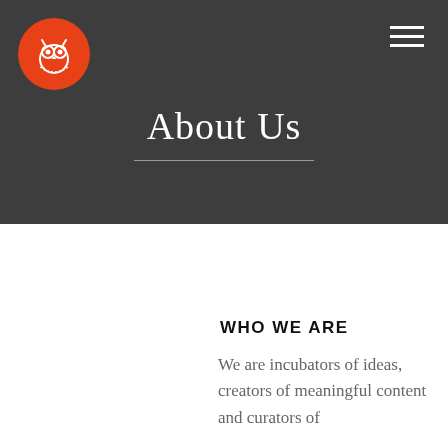[Figure (logo): Orange circle with white owl icon (nerd/glasses owl) inside]
About Us
WHO WE ARE
We are incubators of ideas, creators of meaningful content and curators of